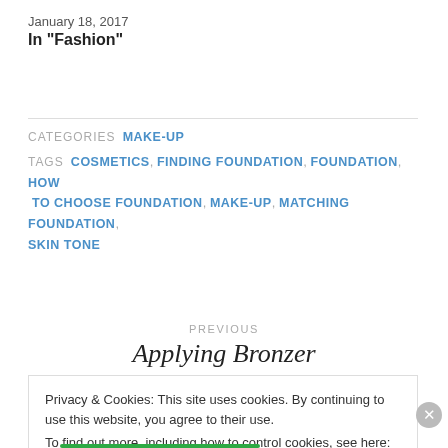January 18, 2017
In "Fashion"
CATEGORIES  MAKE-UP
TAGS  COSMETICS, FINDING FOUNDATION, FOUNDATION, HOW TO CHOOSE FOUNDATION, MAKE-UP, MATCHING FOUNDATION, SKIN TONE
PREVIOUS
Applying Bronzer
Privacy & Cookies: This site uses cookies. By continuing to use this website, you agree to their use.
To find out more, including how to control cookies, see here:
Cookie Policy
Close and accept